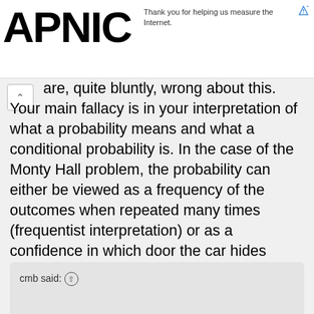APNIC | Thank you for helping us measure the Internet.
are, quite bluntly, wrong about this. Your main fallacy is in your interpretation of what a probability means and what a conditional probability is. In the case of the Monty Hall problem, the probability can either be viewed as a frequency of the outcomes when repeated many times (frequentist interpretation) or as a confidence in which door the car hides behind (Bayesian interpretation). Both interpretations will give the same result in this case, you will have a 2/3 probability of selecting the door of the car if you switch doors.
cmb said: